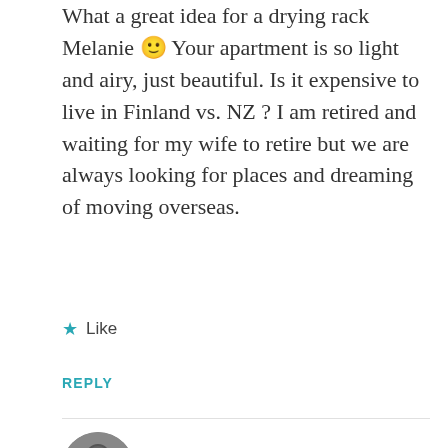What a great idea for a drying rack Melanie 🙂 Your apartment is so light and airy, just beautiful. Is it expensive to live in Finland vs. NZ ? I am retired and waiting for my wife to retire but we are always looking for places and dreaming of moving overseas.
★ Like
REPLY
[Figure (photo): Circular avatar photo of a person in black and white]
melaniedower